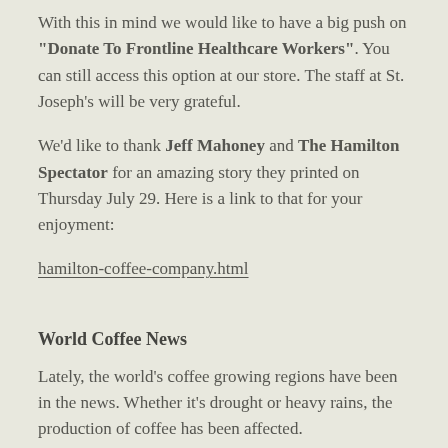With this in mind we would like to have a big push on "Donate To Frontline Healthcare Workers". You can still access this option at our store. The staff at St. Joseph's will be very grateful.
We'd like to thank Jeff Mahoney and The Hamilton Spectator for an amazing story they printed on Thursday July 29. Here is a link to that for your enjoyment:
hamilton-coffee-company.html
World Coffee News
Lately, the world's coffee growing regions have been in the news. Whether it's drought or heavy rains, the production of coffee has been affected.